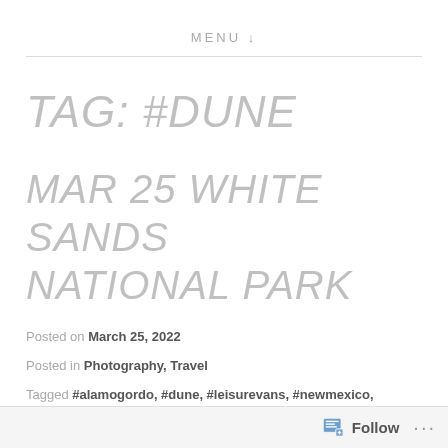MENU ↓
TAG: #DUNE
MAR 25 WHITE SANDS NATIONAL PARK
Posted on March 25, 2022
Posted in Photography, Travel
Tagged #alamogordo, #dune, #leisurevans, #newmexico,
Follow ...